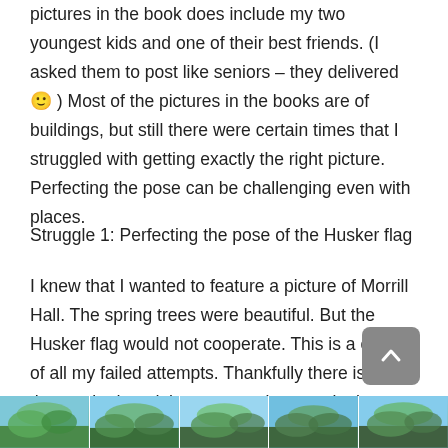pictures in the book does include my two youngest kids and one of their best friends. (I asked them to post like seniors – they delivered 🙂 ) Most of the pictures in the books are of buildings, but still there were certain times that I struggled with getting exactly the right picture. Perfecting the pose can be challenging even with places.
Struggle 1: Perfecting the pose of the Husker flag
I knew that I wanted to feature a picture of Morrill Hall. The spring trees were beautiful. But the Husker flag would not cooperate. This is a collage of all my failed attempts. Thankfully there is one that worked, and that one can be seen in the book.
[Figure (photo): Five thumbnail photos of trees and buildings at a university campus, showing Husker flag photography attempts]
[Figure (other): Back to top button - dark grey rounded square with upward chevron arrow]